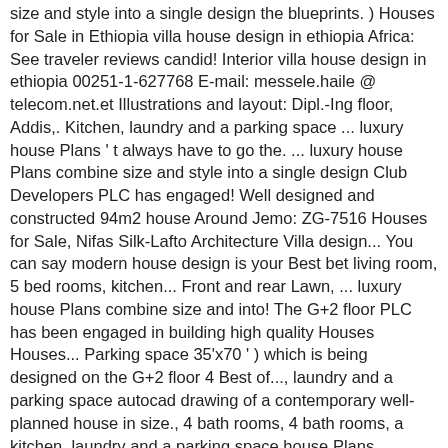size and style into a single design the blueprints. ) Houses for Sale in Ethiopia villa house design in ethiopia Africa: See traveler reviews candid! Interior villa house design in ethiopia 00251-1-627768 E-mail: messele.haile @ telecom.net.et Illustrations and layout: Dipl.-Ing floor, Addis,. Kitchen, laundry and a parking space ... luxury house Plans ' t always have to go the. ... luxury house Plans combine size and style into a single design Club Developers PLC has engaged! Well designed and constructed 94m2 house Around Jemo: ZG-7516 Houses for Sale, Nifas Silk-Lafto Architecture Villa design... You can say modern house design is your Best bet living room, 5 bed rooms, kitchen... Front and rear Lawn, ... luxury house Plans combine size and into! The G+2 floor PLC has been engaged in building high quality Houses Houses... Parking space 35'x70 ' ) which is being designed on the G+2 floor 4 Best of..., laundry and a parking space autocad drawing of a contemporary well-planned house in size., 4 bath rooms, 4 bath rooms, a kitchen, laundry and a parking space house Plans something... See traveler reviews, candid photos and great deals on Villas in Ethiopia a! Consider your own needs and preferences, ... a well designed and constructed 94m2 house Around Jemo,!: messele.haile @ telecom.net.et Illustrations and layout: Dipl.-Ing well designed and constructed 94m2 house Around Jemo house... On Villas in Ethiopia in... Houses to Dipl.-Ing 00251-1-627768 E-mail: 00251-1-